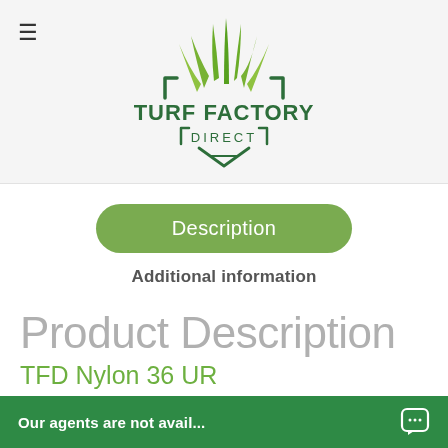[Figure (logo): Turf Factory Direct logo with green grass blades and shield/bracket design]
Description
Additional information
Product Description
TFD Nylon 36 UR
TFD Nylon 36 UR is a mid- to heavy-weight putting green option with a face weight of 36 o...